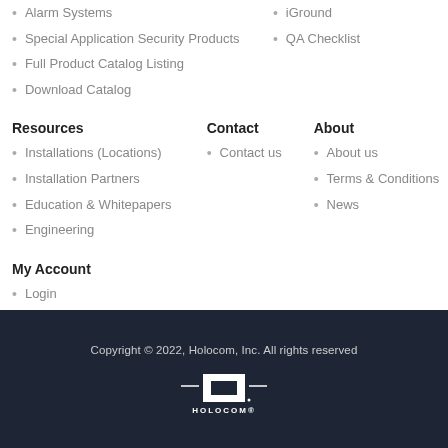Alarm Systems
Special Application Security Products
Full Product Catalog Listing
Download Catalog
iGround
QA Checklist
Resources
Contact
About
Installations (Locations)
Installation Partners
Education & Whitepapers
Engineering
Contact us
About us
Terms & Conditions
News
My Account
Login
Copyright © 2022, Holocom, Inc. All rights reserved
[Figure (logo): Holocom logo with stylized H emblem and HOLOCOM® wordmark in white on dark background]